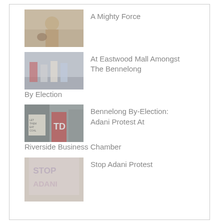[Figure (photo): A person wearing a hat with a dog, outdoors, faded photo]
A Mighty Force
[Figure (photo): People walking at a mall, protest march, rainy day]
At Eastwood Mall Amongst The Bennelong By Election
[Figure (photo): Protesters holding signs including 'Let Them Eat Coal', wearing red shirts]
Bennelong By-Election: Adani Protest At Riverside Business Chamber
[Figure (photo): Sign reading STOP ADANI in painted letters]
Stop Adani Protest